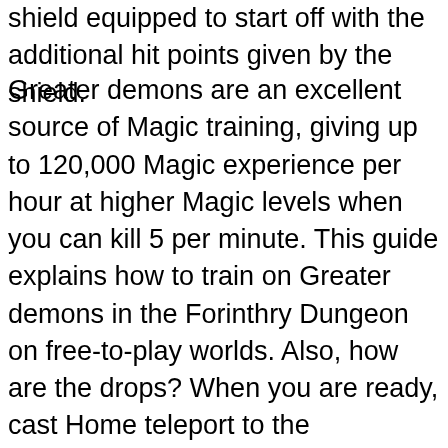shield equipped to start off with the additional hit points given by the shield.
Greater demons are an excellent source of Magic training, giving up to 120,000 Magic experience per hour at higher Magic levels when you can kill 5 per minute. This guide explains how to train on Greater demons in the Forinthry Dungeon on free-to-play worlds. Also, how are the drops? When you are ready, cast Home teleport to the Wilderness lodestone. If you need help getting there, I can take you there. Although they are located in the Forinthry Dungeon in the Wilderness, it is very rare that you will be attacked and killed by another player. Demonic Ruins 3. Greater demons originate on Infernus, where they were called Alyaroth, as the other demons seen in RuneScape do. Players can restock on food at the nearby cage/harpoon fishing spot if they bring logs (or an axe to chop the dead trees) and a tinderbox. There's greater demons there wandering about & some behind bars. They are found within the Catacombs of